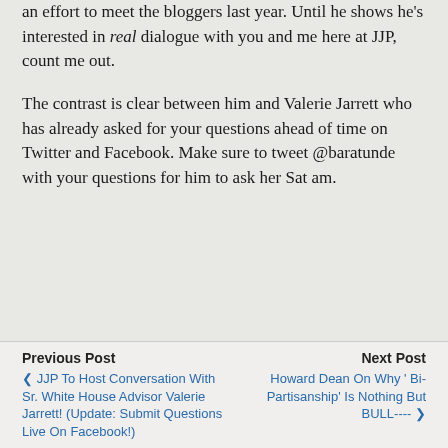an effort to meet the bloggers last year. Until he shows he's interested in real dialogue with you and me here at JJP, count me out.
The contrast is clear between him and Valerie Jarrett who has already asked for your questions ahead of time on Twitter and Facebook. Make sure to tweet @baratunde with your questions for him to ask her Sat am.
Previous Post | JJP To Host Conversation With Sr. White House Advisor Valerie Jarrett! (Update: Submit Questions Live On Facebook!) | Next Post | Howard Dean On Why ' Bi-Partisanship' Is Nothing But BULL----